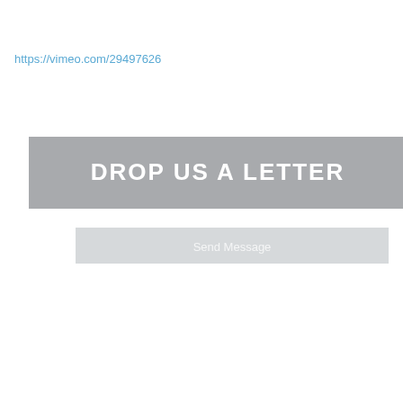https://vimeo.com/29497626
[Figure (screenshot): A grey banner with white bold text 'DROP US A LETTER' and a lighter inner box with text 'Send Message']